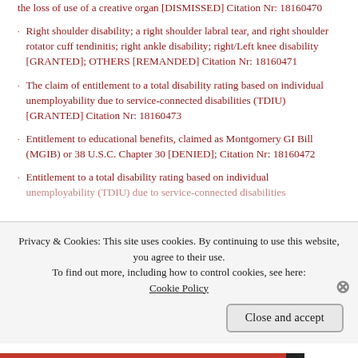the loss of use of a creative organ [DISMISSED] Citation Nr: 18160470
Right shoulder disability; a right shoulder labral tear, and right shoulder rotator cuff tendinitis; right ankle disability; right/Left knee disability [GRANTED]; OTHERS [REMANDED] Citation Nr: 18160471
The claim of entitlement to a total disability rating based on individual unemployability due to service-connected disabilities (TDIU) [GRANTED] Citation Nr: 18160473
Entitlement to educational benefits, claimed as Montgomery GI Bill (MGIB) or 38 U.S.C. Chapter 30 [DENIED]; Citation Nr: 18160472
Entitlement to a total disability rating based on individual unemployability (TDIU) due to service-connected disabilities
Privacy & Cookies: This site uses cookies. By continuing to use this website, you agree to their use. To find out more, including how to control cookies, see here: Cookie Policy
Close and accept